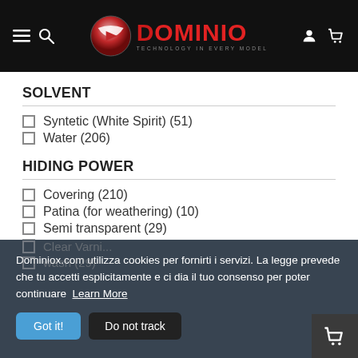DOMINIO website header with logo, navigation icons
SOLVENT
Syntetic (White Spirit) (51)
Water (206)
HIDING POWER
Covering (210)
Patina (for weathering) (10)
Semi transparent (29)
Trasparent (8)
Dominiox.com utilizza cookies per fornirti i servizi. La legge prevede che tu accetti esplicitamente e ci dia il tuo consenso per poter continuare  Learn More
Clear Varni...
wash (29)